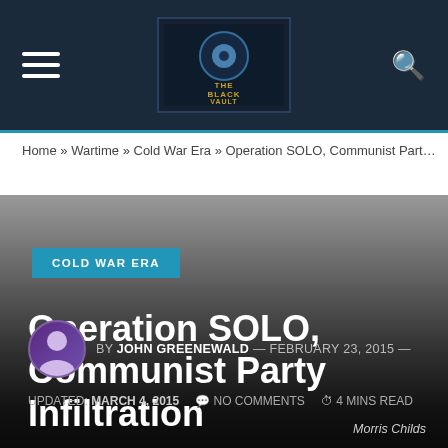The Black Vault
Home » Wartime » Cold War Era » Operation SOLO, Communist Party I...
COLD WAR ERA
Operation SOLO, Communist Party Infiltration
BY JOHN GREENEWALD — FEBRUARY 23, 2015 — UPDATED: MARCH 4, 2015   NO COMMENTS   4 MINS READ
Morris Childs